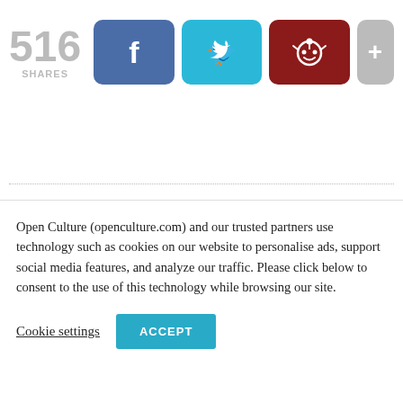[Figure (infographic): Social share count and buttons: 516 SHARES, Facebook (blue), Twitter (cyan), Reddit (dark red), plus (gray)]
[Figure (infographic): Open Culture website header bar with OPEN logo in black on teal background, Home and Audio Books navigation links, Twitter and Facebook icons]
Open Culture (openculture.com) and our trusted partners use technology such as cookies on our website to personalise ads, support social media features, and analyze our traffic. Please click below to consent to the use of this technology while browsing our site.
Cookie settings  ACCEPT